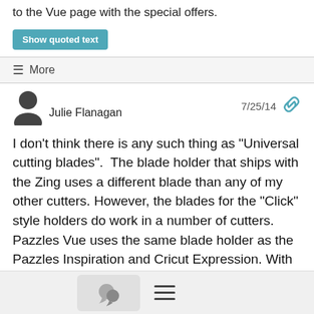to the Vue page with the special offers.
Show quoted text
≡ More
Julie Flanagan  7/25/14
I don't think there is any such thing as "Universal cutting blades".  The blade holder that ships with the Zing uses a different blade than any of my other cutters. However, the blades for the "Click" style holders do work in a number of cutters. Pazzles Vue uses the same blade holder as the Pazzles Inspiration and Cricut Expression. With the proper depth adjustments I am able to use blades made for Pazzles